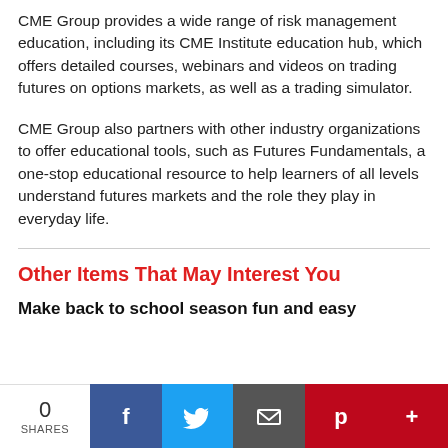CME Group provides a wide range of risk management education, including its CME Institute education hub, which offers detailed courses, webinars and videos on trading futures on options markets, as well as a trading simulator.
CME Group also partners with other industry organizations to offer educational tools, such as Futures Fundamentals, a one-stop educational resource to help learners of all levels understand futures markets and the role they play in everyday life.
Other Items That May Interest You
Make back to school season fun and easy